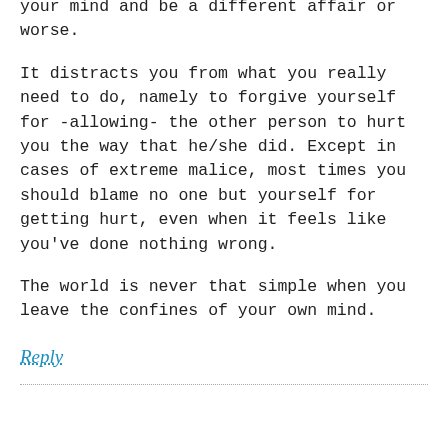your mind and be a different affair or worse.
It distracts you from what you really need to do, namely to forgive yourself for -allowing- the other person to hurt you the way that he/she did. Except in cases of extreme malice, most times you should blame no one but yourself for getting hurt, even when it feels like you've done nothing wrong.
The world is never that simple when you leave the confines of your own mind.
Reply